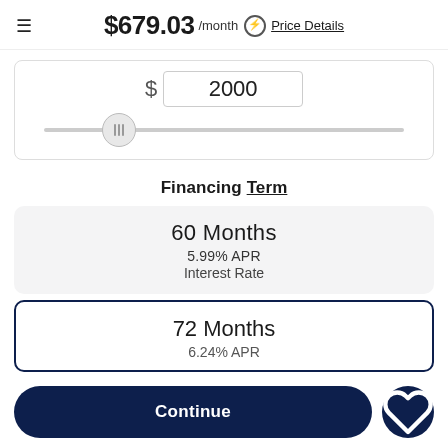$679.03 /month ⓢ Price Details
[Figure (screenshot): Down payment input field showing $2000 with a horizontal slider control below it]
Financing Term
60 Months
5.99% APR
Interest Rate
72 Months
6.24% APR
Continue